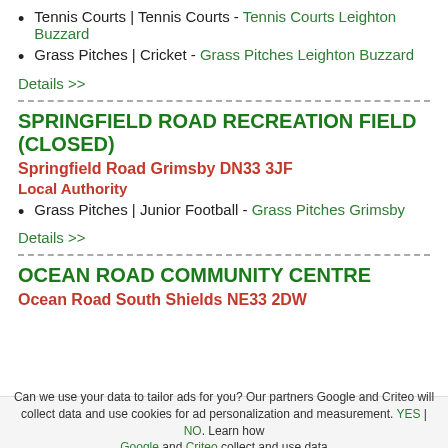Tennis Courts | Tennis Courts - Tennis Courts Leighton Buzzard
Grass Pitches | Cricket - Grass Pitches Leighton Buzzard
Details >>
SPRINGFIELD ROAD RECREATION FIELD (CLOSED)
Springfield Road Grimsby DN33 3JF
Local Authority
Grass Pitches | Junior Football - Grass Pitches Grimsby
Details >>
OCEAN ROAD COMMUNITY CENTRE
Ocean Road South Shields NE33 2DW
Can we use your data to tailor ads for you? Our partners Google and Criteo will collect data and use cookies for ad personalization and measurement. YES | NO. Learn how Google and Criteo collect and use data